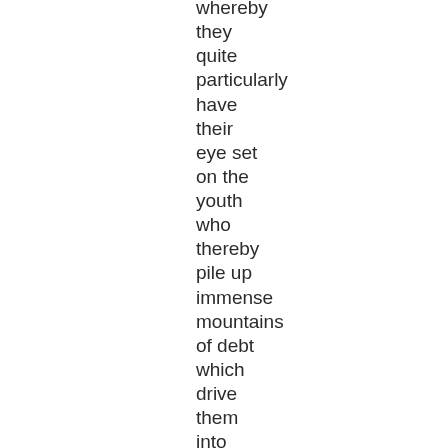whereby they quite particularly have their eye set on the youth who thereby pile up immense mountains of debt which drive them into need and misery